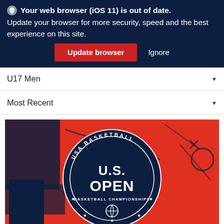Your web browser (iOS 11) is out of date. Update your browser for more security, speed and the best experience on this site. Update browser  Ignore
U17 Men
Most Recent
[Figure (photo): USA Basketball U.S. Open Basketball Championships logo on a red and navy background with drawn play diagrams]